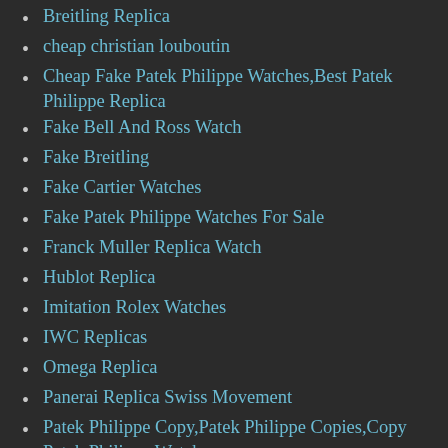Breitling Replica
cheap christian louboutin
Cheap Fake Patek Philippe Watches,Best Patek Philippe Replica
Fake Bell And Ross Watch
Fake Breitling
Fake Cartier Watches
Fake Patek Philippe Watches For Sale
Franck Muller Replica Watch
Hublot Replica
Imitation Rolex Watches
IWC Replicas
Omega Replica
Panerai Replica Swiss Movement
Patek Philippe Copy,Patek Philippe Copies,Copy Patek Philippe Watches
Patek Philippe Imitation,Imitation Patek…